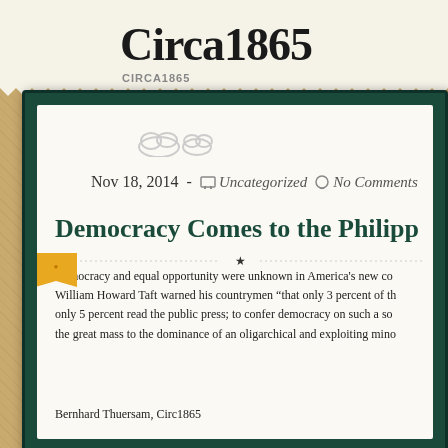Circa1865
CIRCA1865
Nov 18, 2014 - Uncategorized No Comments
Democracy Comes to the Philipp
Democracy and equal opportunity were unknown in America's new co William Howard Taft warned his countrymen “that only 3 percent of th only 5 percent read the public press; to confer democracy on such a so the great mass to the dominance of an oligarchical and exploiting mino
Bernhard Thuersam, Circ1865